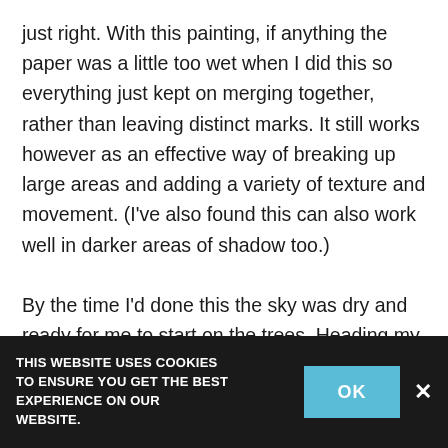just right. With this painting, if anything the paper was a little too wet when I did this so everything just kept on merging together, rather than leaving distinct marks. It still works however as an effective way of breaking up large areas and adding a variety of texture and movement. (I've also found this can also work well in darker areas of shadow too.)

By the time I'd done this the sky was dry and ready for me to start on the trees. Heading my mantra, I went in quite pale with these, part dragging part rolling the side of the brush on the paper. Straight away they felt distant compared to my previous attempts. Next I identified the
THIS WEBSITE USES COOKIES TO ENSURE YOU GET THE BEST EXPERIENCE ON OUR WEBSITE.